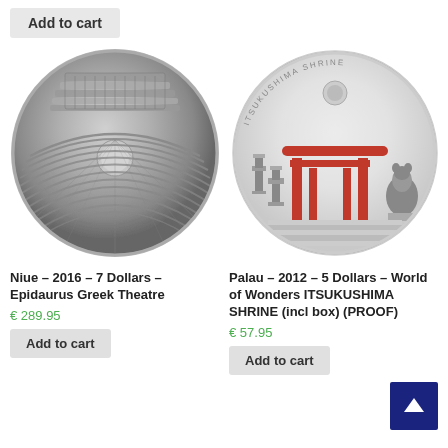Add to cart
[Figure (photo): Silver coin depicting Epidaurus Greek Theatre from Niue 2016]
[Figure (photo): Silver coin depicting Itsukushima Shrine from Palau 2012 with colored red torii gate]
Niue – 2016 – 7 Dollars – Epidaurus Greek Theatre
Palau – 2012 – 5 Dollars – World of Wonders ITSUKUSHIMA SHRINE (incl box) (PROOF)
€ 289.95
€ 57.95
Add to cart
Add to cart